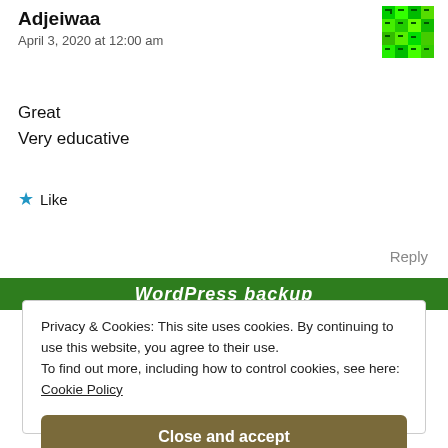Adjeiwaa
April 3, 2020 at 12:00 am
Great
Very educative
★ Like
Reply
[Figure (other): Green WordPress backup banner]
Privacy & Cookies: This site uses cookies. By continuing to use this website, you agree to their use.
To find out more, including how to control cookies, see here:
Cookie Policy
Close and accept